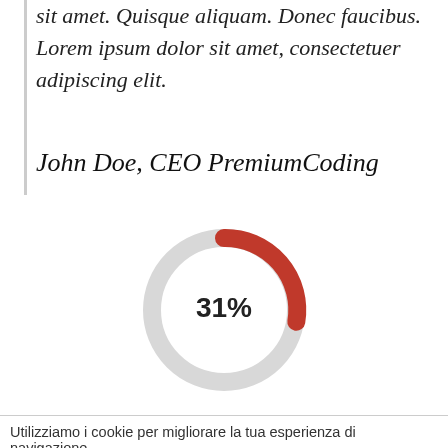sit amet. Quisque aliquam. Donec faucibus. Lorem ipsum dolor sit amet, consectetuer adipiscing elit.
John Doe, CEO PremiumCoding
[Figure (donut-chart): ]
Utilizziamo i cookie per migliorare la tua esperienza di navigazione. Accetto - Leggi la Policy su Cookies e Privacy